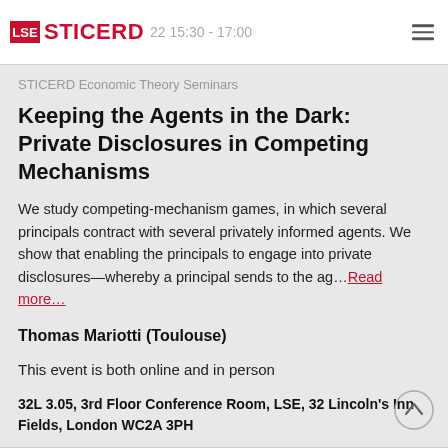LSE STICERD — Thursday, 22 15:30 - 17:00
STICERD Economic Theory Seminars
Keeping the Agents in the Dark: Private Disclosures in Competing Mechanisms
We study competing-mechanism games, in which several principals contract with several privately informed agents. We show that enabling the principals to engage into private disclosures—whereby a principal sends to the ag... Read more...
Thomas Mariotti (Toulouse)
This event is both online and in person
32L 3.05, 3rd Floor Conference Room, LSE, 32 Lincoln's Inn Fields, London WC2A 3PH